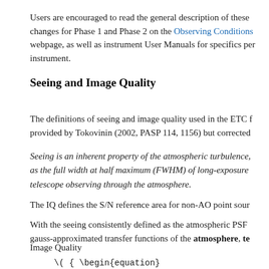Users are encouraged to read the general description of these changes for Phase 1 and Phase 2 on the Observing Conditions webpage, as well as instrument User Manuals for specifics per instrument.
Seeing and Image Quality
The definitions of seeing and image quality used in the ETC f provided by Tokovinin (2002, PASP 114, 1156) but corrected
Seeing is an inherent property of the atmospheric turbulence, as the full width at half maximum (FWHM) of long-exposure telescope observing through the atmosphere.
The IQ defines the S/N reference area for non-AO point sour
With the seeing consistently defined as the atmospheric PSF gauss-approximated transfer functions of the atmosphere, te
Image Quality